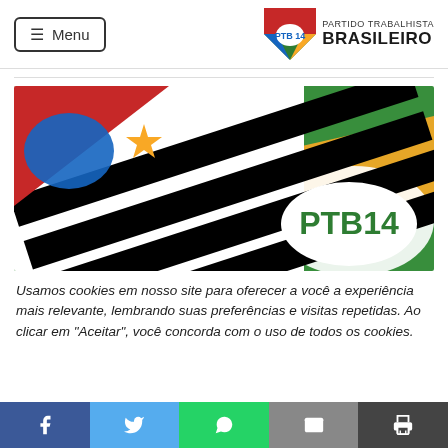Menu | Partido Trabalhista Brasileiro PTB 14
[Figure (photo): Photo of São Paulo state flag and PTB 14 party flag/banner side by side, showing black and white diagonal stripes with red corner bearing yellow star and blue map silhouette, overlaid with green and yellow Brazilian flag colors and a white oval PTB14 logo]
Usamos cookies em nosso site para oferecer a você a experiência mais relevante, lembrando suas preferências e visitas repetidas. Ao clicar em "Aceitar", você concorda com o uso de todos os cookies.
Facebook | Twitter | WhatsApp | Email | Print